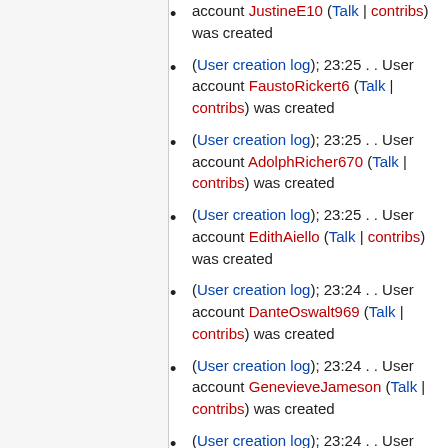(User creation log); 23:25 . . User account JustineE10 (Talk | contribs) was created
(User creation log); 23:25 . . User account FaustoRickert6 (Talk | contribs) was created
(User creation log); 23:25 . . User account AdolphRicher670 (Talk | contribs) was created
(User creation log); 23:25 . . User account EdithAiello (Talk | contribs) was created
(User creation log); 23:24 . . User account DanteOswalt969 (Talk | contribs) was created
(User creation log); 23:24 . . User account GenevieveJameson (Talk | contribs) was created
(User creation log); 23:24 . . User account Cole87722455009 (Talk | contribs) was created
(User creation log); 23:24 . . User